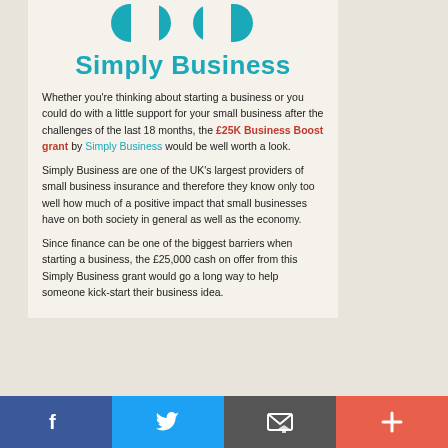[Figure (logo): Simply Business logo with two teal rounded shapes and the text 'Simply Business' in teal below]
Whether you’re thinking about starting a business or you could do with a little support for your small business after the challenges of the last 18 months, the £25K Business Boost grant by Simply Business would be well worth a look.
Simply Business are one of the UK’s largest providers of small business insurance and therefore they know only too well how much of a positive impact that small businesses have on both society in general as well as the economy.
Since finance can be one of the biggest barriers when starting a business, the £25,000 cash on offer from this Simply Business grant would go a long way to help someone kick-start their business idea.
Facebook | Twitter | Email | Plus social share bar